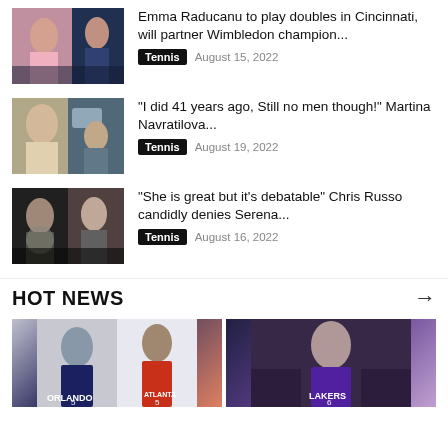Emma Raducanu to play doubles in Cincinnati, will partner Wimbledon champion...
Tennis  August 15, 2022
“I did 41 years ago, Still no men though!” Martina Navratilova...
Tennis  August 19, 2022
“She is great but it’s debatable” Chris Russo candidly denies Serena...
Tennis  August 16, 2022
HOT NEWS
[Figure (photo): Sports photo collage - basketball players]
[Figure (photo): LeBron James Lakers photo]